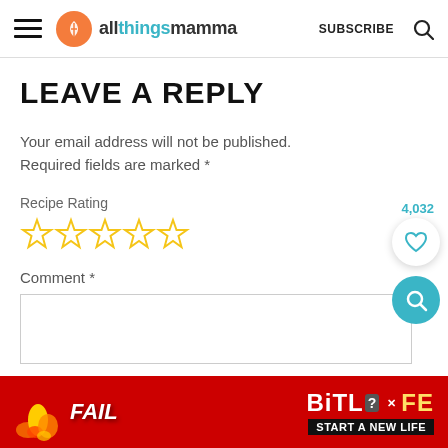allthingsmamma | SUBSCRIBE
LEAVE A REPLY
Your email address will not be published. Required fields are marked *
Recipe Rating
[Figure (other): Five empty star rating icons in gold/yellow color]
Comment *
[Figure (other): Advertisement banner: BitLife - Start a New Life, with FAIL text and cartoon character on red background]